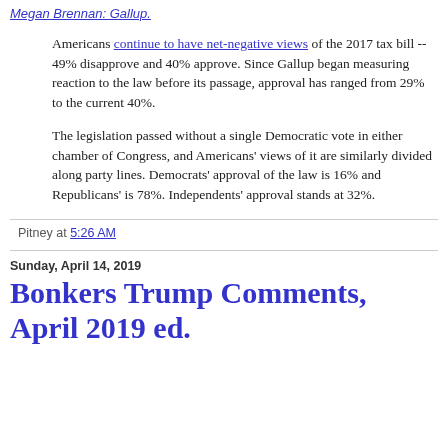Megan Brennan: Gallup.
Americans continue to have net-negative views of the 2017 tax bill -- 49% disapprove and 40% approve. Since Gallup began measuring reaction to the law before its passage, approval has ranged from 29% to the current 40%.
The legislation passed without a single Democratic vote in either chamber of Congress, and Americans' views of it are similarly divided along party lines. Democrats' approval of the law is 16% and Republicans' is 78%. Independents' approval stands at 32%.
Pitney at 5:26 AM
Sunday, April 14, 2019
Bonkers Trump Comments, April 2019 ed.